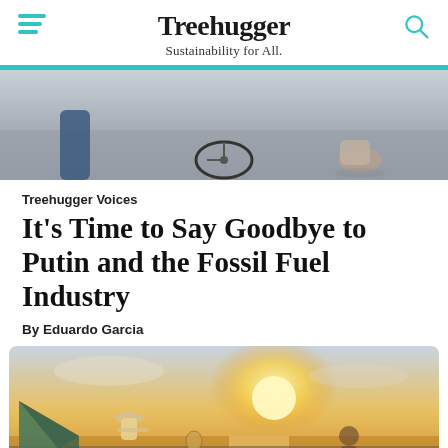Treehugger — Sustainability for All.
[Figure (photo): Close-up photo of bicycle wheels and legs of people on pavement]
Treehugger Voices
It's Time to Say Goodbye to Putin and the Fossil Fuel Industry
By Eduardo Garcia
[Figure (photo): Person in hat looking at a map or paper near a tent with a sunset over water in the background]